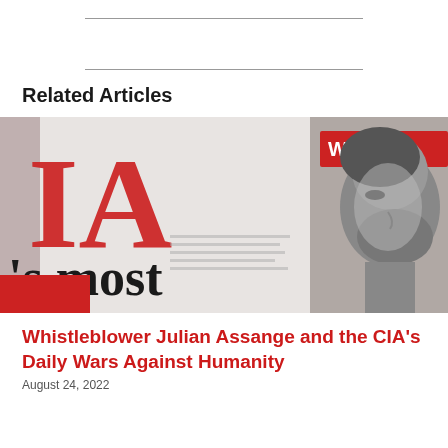Related Articles
[Figure (photo): Composite image of a newspaper headline with large red letters 'IA' and text 's most', with a WikiLeaks red band logo visible top right, and a black and white profile photo of a man (Julian Assange)]
Whistleblower Julian Assange and the CIA's Daily Wars Against Humanity
August 24, 2022